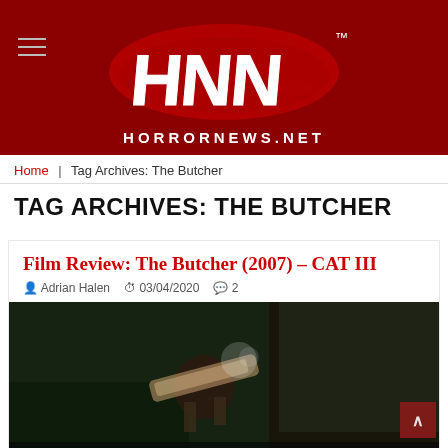[Figure (logo): HNN Horror News Net logo with white dripping text letters on dark red background with blood splatter, HORRORNEWS.NET subtitle]
Home | Tag Archives: The Butcher
TAG ARCHIVES: THE BUTCHER
Film Review: The Butcher (2007) – CAT III
Adrian Halen   03/04/2020   2
[Figure (photo): Dark movie still from The Butcher (2007) showing a figure holding a chainsaw in a dimly lit scene with green and dark tones]